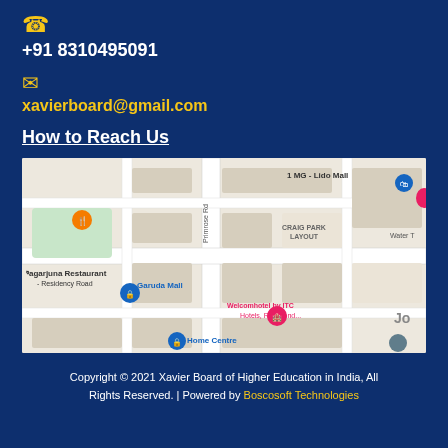📞 +91 8310495091
✉ xavierboard@gmail.com
How to Reach Us
[Figure (map): Google Maps screenshot showing area around Craig Park Layout, Bangalore with landmarks including Nagarjuna Restaurant - Residency Road, 1 MG - Lido Mall, Garuda Mall, Welcomhotel by ITC Hotels Richmond, and Home Centre]
Copyright © 2021 Xavier Board of Higher Education in India, All Rights Reserved. | Powered by Boscosoft Technologies